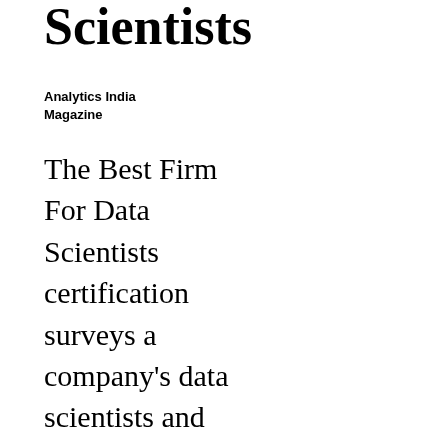Scientists
Analytics India Magazine
The Best Firm For Data Scientists certification surveys a company's data scientists and analytics employees to identify and recognise organisations with great